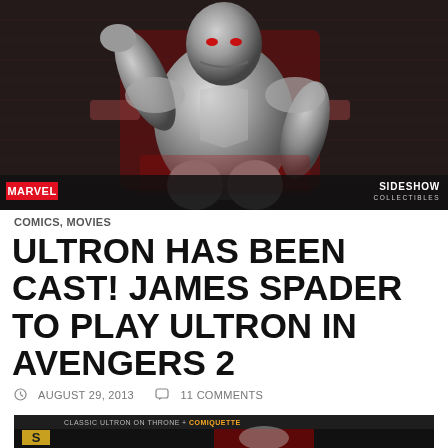[Figure (photo): Ultron collectible figurine on throne, metallic silver robot seated in a red-backed ornate chair against a dark brick background. MARVEL logo bottom-left, SIDESHOW COLLECTIBLES logo bottom-right on dark bar.]
COMICS, MOVIES
ULTRON HAS BEEN CAST! JAMES SPADER TO PLAY ULTRON IN AVENGERS 2
AUGUST 29, 2013    11 COMMENTS
[Figure (screenshot): Bottom partial screenshot showing CLASSIC ULTRON ON THRONE + COMIQUETTE header with Sideshow logo and partial product image on dark background.]